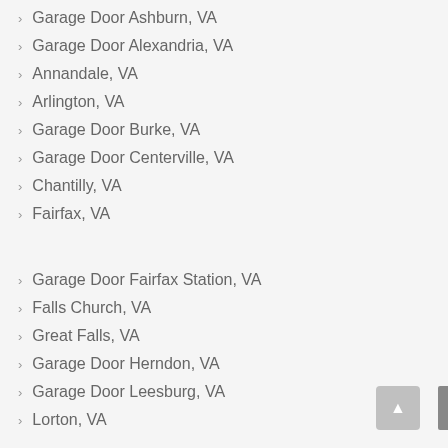Garage Door Ashburn, VA
Garage Door Alexandria, VA
Annandale, VA
Arlington, VA
Garage Door Burke, VA
Garage Door Centerville, VA
Chantilly, VA
Fairfax, VA
Garage Door Fairfax Station, VA
Falls Church, VA
Great Falls, VA
Garage Door Herndon, VA
Garage Door Leesburg, VA
Lorton, VA